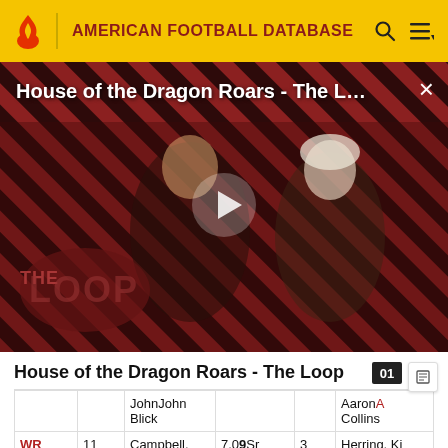AMERICAN FOOTBALL DATABASE
[Figure (screenshot): Video thumbnail for 'House of the Dragon Roars - The L...' showing two characters from the TV show House of the Dragon against a red diagonal striped background with 'THE LOOP' text overlay and a play button. A close (X) button is in the top right.]
House of the Dragon Roars - The Loop
|  |  | JohnJohn Blick |  |  | AaronA Collins |
| WR | 11 | Campbell, ChrisChris | 7.09Sr | 3 | Herring, Ki Herring |